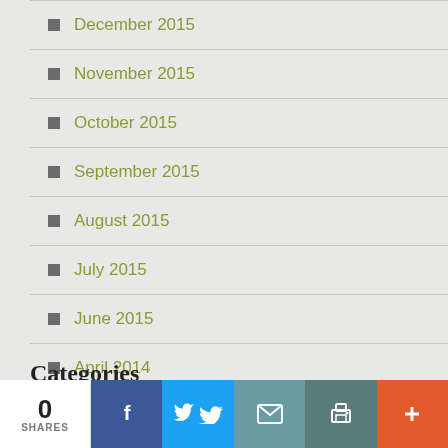December 2015
November 2015
October 2015
September 2015
August 2015
July 2015
June 2015
April 2014
Categories
25th Anniversary